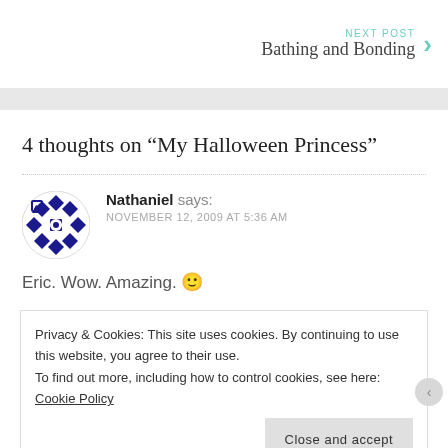NEXT POST
Bathing and Bonding
4 thoughts on “My Halloween Princess”
Nathaniel says:
NOVEMBER 12, 2009 AT 5:36 AM
Eric. Wow. Amazing. 🙂
Privacy & Cookies: This site uses cookies. By continuing to use this website, you agree to their use.
To find out more, including how to control cookies, see here: Cookie Policy
Close and accept